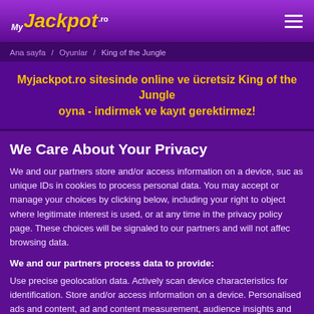My Jackpot .ro [logo] ☰
Ana sayfa / Oyunlar / King of the Jungle
Myjackpot.ro sitesinde online ve ücretsiz King of the Jungle oyna - indirmek ve kayıt gerektirmez!
We Care About Your Privacy
We and our partners store and/or access information on a device, suc as unique IDs in cookies to process personal data. You may accept or manage your choices by clicking below, including your right to object where legitimate interest is used, or at any time in the privacy policy page. These choices will be signaled to our partners and will not affec browsing data.
We and our partners process data to provide:
Use precise geolocation data. Actively scan device characteristics for identification. Store and/or access information on a device. Personalised ads and content, ad and content measurement, audience insights and product development.
List of Partners (vendors)